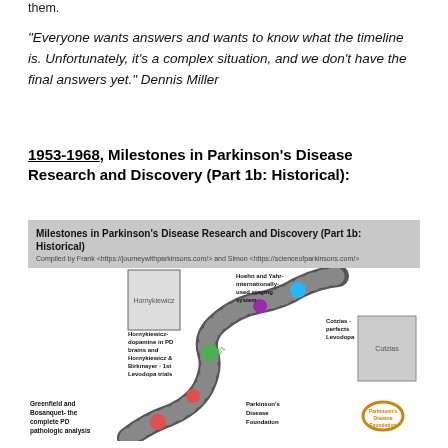them.
“Everyone wants answers and wants to know what the timeline is. Unfortunately, it’s a complex situation, and we don’t have the final answers yet.” Dennis Miller
1953-1968, Milestones in Parkinson’s Disease Research and Discovery (Part 1b: Historical):
[Figure (infographic): Milestones in Parkinson’s Disease Research and Discovery (Part 1b: Historical) timeline infographic. Compiled by Frank and Simon. Shows a winding road/path timeline with milestones: Greenfield and Bosanquet- the complete PD pathologic analysis; Hornykiewicz- dopamine in PD brains and Hornykiewicz & Birkmayer - 1st Levodopa trials (1960/1); Parkinson’s Disease Foundation; Hoehn and Yahr- internationally-used staging system (1967); Cotzias - perfects Levodopa (1968). Includes black-and-white portraits and the Parkinson’s Disease Foundation logo.]